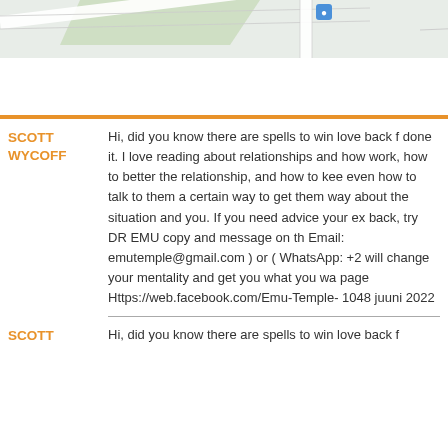[Figure (map): Partial map view showing roads and a location pin marker]
SCOTT WYCOFF: Hi, did you know there are spells to win love back f... done it. I love reading about relationships and how... work, how to better the relationship, and how to kee... even how to talk to them a certain way to get them... way about the situation and you. If you need advice... your ex back, try DR EMU copy and message on th... Email: emutemple@gmail.com ) or ( WhatsApp: +2... will change your mentality and get you what you wa... page Https://web.facebook.com/Emu-Temple- 1048... juuni 2022
SCOTT: Hi, did you know there are spells to win love back f...